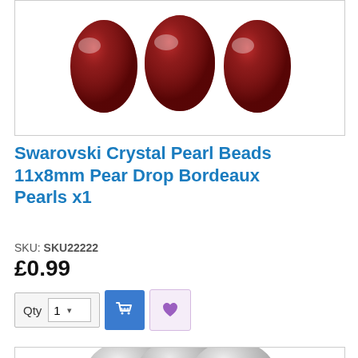[Figure (photo): Three dark red/bordeaux Swarovski crystal pear drop beads on a white background, shown in a row]
Swarovski Crystal Pearl Beads 11x8mm Pear Drop Bordeaux Pearls x1
SKU: SKU22222
£0.99
[Figure (screenshot): Quantity selector showing '1' with dropdown arrow, blue cart button icon, and pink/purple heart wishlist button]
[Figure (photo): Three silver/grey Swarovski crystal pear drop beads partially visible at the bottom of the page]